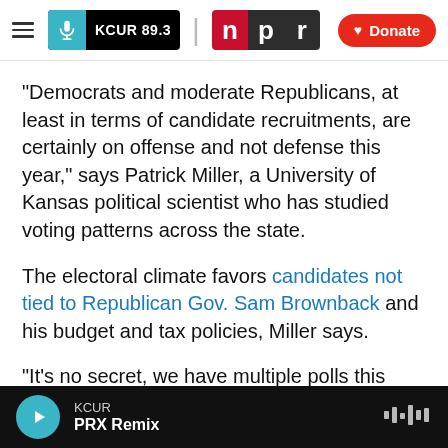KCUR 89.3 | npr | Donate
“Democrats and moderate Republicans, at least in terms of candidate recruitments, are certainly on offense and not defense this year,” says Patrick Miller, a University of Kansas political scientist who has studied voting patterns across the state.
The electoral climate favors candidates not tied to Republican Gov. Sam Brownback and his budget and tax policies, Miller says.
“It’s no secret, we have multiple polls this year that show — despite what anyone says to refute it — that Brownback is pretty unpopular,” he says. “And
KCUR | PRX Remix